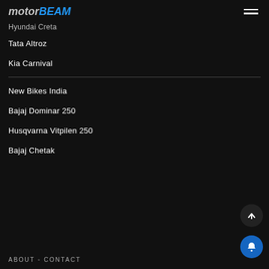MOTORBEAM
Hyundai Creta
Tata Altroz
Kia Carnival
New Bikes India
Bajaj Dominar 250
Husqvarna Vitpilen 250
Bajaj Chetak
ABOUT ◦ CONTACT